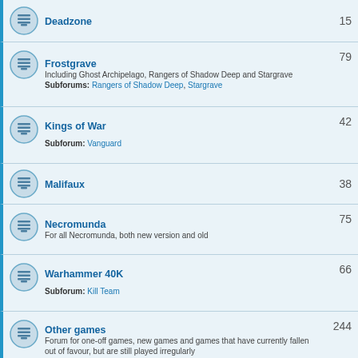Deadzone | 15
Frostgrave | Including Ghost Archipelago, Rangers of Shadow Deep and Stargrave | Subforums: Rangers of Shadow Deep, Stargrave | 79
Kings of War | Subforum: Vanguard | 42
Malifaux | 38
Necromunda | For all Necromunda, both new version and old | 75
Warhammer 40K | Subforum: Kill Team | 66
Other games | Forum for one-off games, new games and games that have currently fallen out of favour, but are still played irregularly | Subforums: Blood Bowl, Dreadball, Mordheim, Post-Apocalypse games, The Walking Dead, Warcry, Warhammer Quest, Warhammer Underworlds, X-Wing | 244
ARBBL | TOPICS
Painting and Modelling | Our little corner of pride | 71
Scenery and terrain | What we play our games on | 37